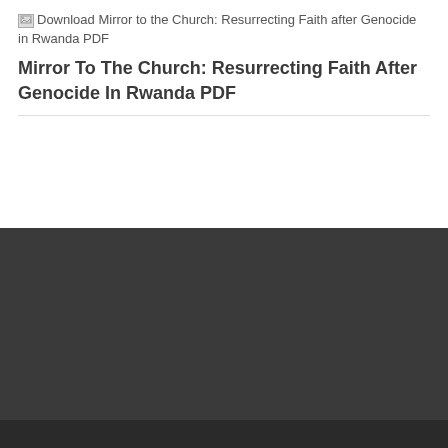[Figure (other): Broken image placeholder icon followed by alt text: Download Mirror to the Church: Resurrecting Faith after Genocide in Rwanda PDF]
Mirror To The Church: Resurrecting Faith After Genocide In Rwanda PDF
2022 © Copyright charcoaled.duckdns.org. All rights reserved. Sitemap